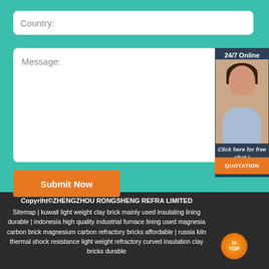Country:
Message:
24/7 Online
Click here for free chat !
Submit Now
QUOTATION
Copyriht©ZHENGZHOU RONGSHENG REFRA LIMITED
Sitemap | kuwait light weight clay brick mainly used insulating lining durable | indonesia high quality industrial furnace lining used magnesia carbon brick magnesium carbon refractory bricks affordable | russia kiln thermal shock resistance light weight refractory curved insulation clay bricks durable